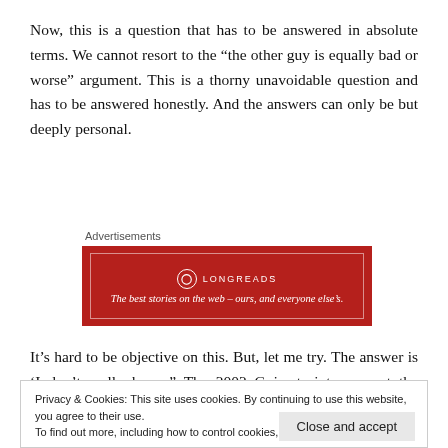Now, this is a question that has to be answered in absolute terms. We cannot resort to the “the other guy is equally bad or worse” argument. This is a thorny unavoidable question and has to be answered honestly. And the answers can only be but deeply personal.
Advertisements
[Figure (other): Longreads advertisement banner: red background with white border, logo circle with 'L', text 'LONGREADS' and tagline 'The best stories on the web – ours, and everyone else’s.']
It’s hard to be objective on this. But, let me try. The answer is ‘I don’t really know.” The 2002 Gujarat riots are not the reason for
Privacy & Cookies: This site uses cookies. By continuing to use this website, you agree to their use.
To find out more, including how to control cookies, see here: Cookie Policy
My ambivalence has to do with the fact that Modi has his roots